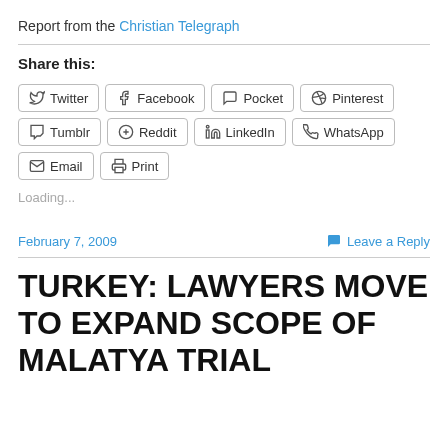Report from the Christian Telegraph
Share this:
Twitter  Facebook  Pocket  Pinterest  Tumblr  Reddit  LinkedIn  WhatsApp  Email  Print
Loading...
February 7, 2009
Leave a Reply
TURKEY: LAWYERS MOVE TO EXPAND SCOPE OF MALATYA TRIAL